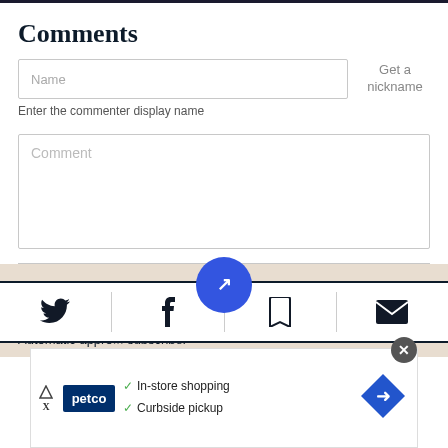Comments
Name
Get a nickname
Enter the commenter display name
Comment
SUBSCRIBERS JOIN THE CONVERSATION FASTER
Automatic appro... subscriber
[Figure (screenshot): Bottom toolbar with Twitter, Facebook, bookmark, and email icons, plus a blue circular button with northeast arrow in center]
[Figure (screenshot): Petco advertisement banner showing In-store shopping and Curbside pickup with checkmarks]